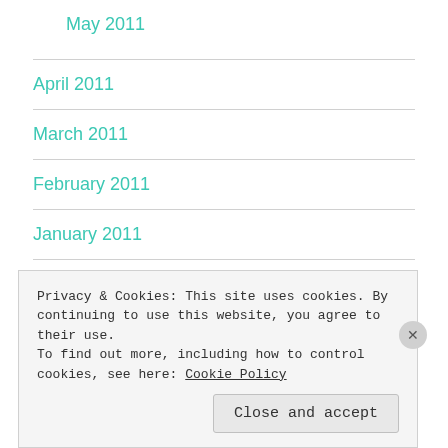May 2011
April 2011
March 2011
February 2011
January 2011
December 2010
Privacy & Cookies: This site uses cookies. By continuing to use this website, you agree to their use.
To find out more, including how to control cookies, see here: Cookie Policy
Close and accept